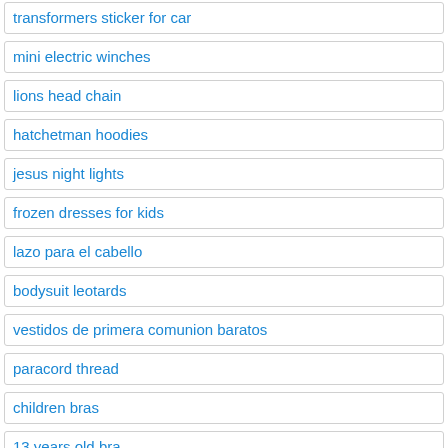transformers sticker for car
mini electric winches
lions head chain
hatchetman hoodies
jesus night lights
frozen dresses for kids
lazo para el cabello
bodysuit leotards
vestidos de primera comunion baratos
paracord thread
children bras
13 years old bra